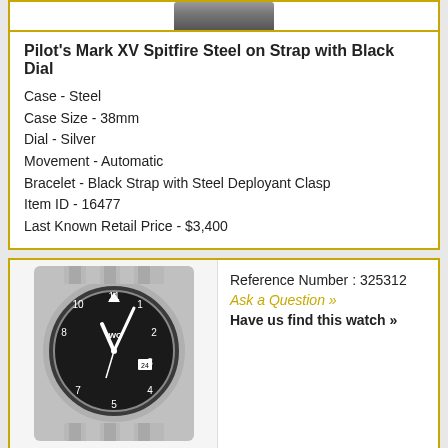Pilot's Mark XV Spitfire Steel on Strap with Black Dial
Case - Steel
Case Size - 38mm
Dial - Silver
Movement - Automatic
Bracelet - Black Strap with Steel Deployant Clasp
Item ID - 16477
Last Known Retail Price - $3,400
[Figure (photo): IWC pilot watch with black dial on bracelet]
Reference Number : 325312
Ask a Question »
Have us find this watch »
MARK XV - Spitfire Black Dial on Bracelet
Case - Steel
Case Size - 38mm
Dial - Black Dial